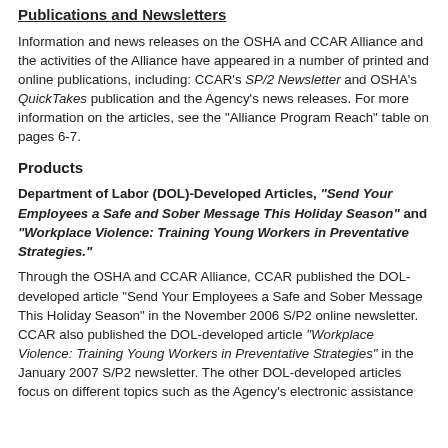Publications and Newsletters
Information and news releases on the OSHA and CCAR Alliance and the activities of the Alliance have appeared in a number of printed and online publications, including: CCAR's SP/2 Newsletter and OSHA's QuickTakes publication and the Agency's news releases. For more information on the articles, see the "Alliance Program Reach" table on pages 6-7.
Products
Department of Labor (DOL)-Developed Articles, "Send Your Employees a Safe and Sober Message This Holiday Season" and "Workplace Violence: Training Young Workers in Preventative Strategies."
Through the OSHA and CCAR Alliance, CCAR published the DOL-developed article "Send Your Employees a Safe and Sober Message This Holiday Season" in the November 2006 S/P2 online newsletter. CCAR also published the DOL-developed article "Workplace Violence: Training Young Workers in Preventative Strategies" in the January 2007 S/P2 newsletter. The other DOL-developed articles focus on different topics such as the Agency's electronic assistance